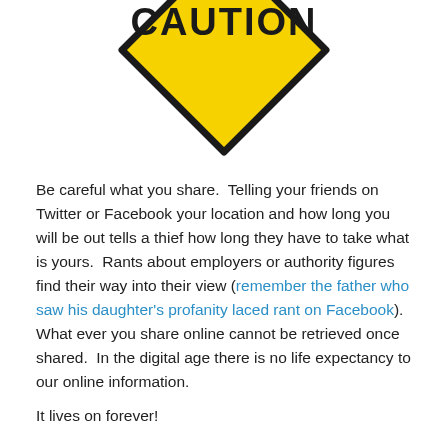[Figure (illustration): A yellow diamond-shaped caution road sign with black border. The top portion of the sign is visible, showing the word CAUTION in large black bold letters. The sign points downward with a rounded bottom tip.]
Be careful what you share.  Telling your friends on Twitter or Facebook your location and how long you will be out tells a thief how long they have to take what is yours.  Rants about employers or authority figures find their way into their view (remember the father who saw his daughter's profanity laced rant on Facebook).  What ever you share online cannot be retrieved once shared.  In the digital age there is no life expectancy to our online information.
It lives on forever!